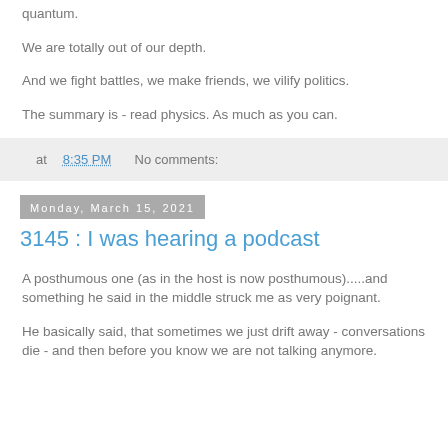quantum.
We are totally out of our depth.
And we fight battles, we make friends, we vilify politics.
The summary is - read physics. As much as you can.
at 8:35 PM   No comments:
Monday, March 15, 2021
3145 : I was hearing a podcast
A posthumous one (as in the host is now posthumous).....and something he said in the middle struck me as very poignant.
He basically said, that sometimes we just drift away - conversations die - and then before you know we are not talking anymore.